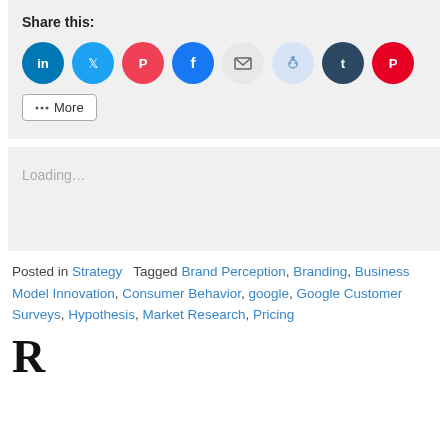Share this:
[Figure (infographic): Row of social sharing icon buttons: LinkedIn (blue), Twitter (light blue), Pocket (red), Facebook (blue), Email (gray), Reddit (light blue), Tumblr (dark blue), Pinterest (red), followed by a More button]
Loading…
Posted in Strategy   Tagged Brand Perception, Branding, Business Model Innovation, Consumer Behavior, google, Google Customer Surveys, Hypothesis, Market Research, Pricing
Reod...